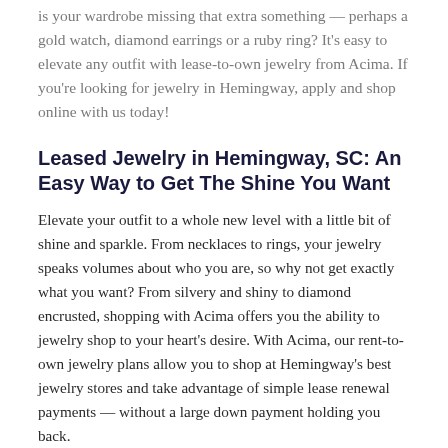is your wardrobe missing that extra something — perhaps a gold watch, diamond earrings or a ruby ring? It's easy to elevate any outfit with lease-to-own jewelry from Acima. If you're looking for jewelry in Hemingway, apply and shop online with us today!
Leased Jewelry in Hemingway, SC: An Easy Way to Get The Shine You Want
Elevate your outfit to a whole new level with a little bit of shine and sparkle. From necklaces to rings, your jewelry speaks volumes about who you are, so why not get exactly what you want? From silvery and shiny to diamond encrusted, shopping with Acima offers you the ability to jewelry shop to your heart's desire. With Acima, our rent-to-own jewelry plans allow you to shop at Hemingway's best jewelry stores and take advantage of simple lease renewal payments — without a large down payment holding you back.
Make your dreams a reality and start shopping for your new